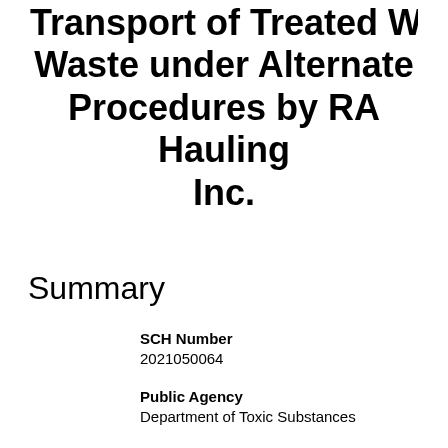Transport of Treated Wood Waste under Alternate Procedures by RA Hauling Inc.
Summary
SCH Number
2021050064
Public Agency
Department of Toxic Substances